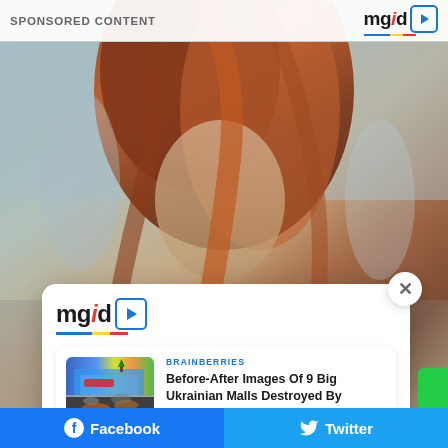SPONSORED CONTENT
[Figure (logo): MGID logo with play button icon, top right]
[Figure (photo): Background photo of a woman with reddish-brown hair, blurred]
[Figure (screenshot): MGID sponsored content modal card with two article cards. First article: BRAINBERRIES - Before-After Images Of 9 Big Ukrainian Malls Destroyed By Russia with mall thumbnail. Second article: BRAINBERRIES - A Few Years Ago, Sandler's Career Was Falling Apart with Adam Sandler thumbnail.]
BRAINBERRIES
Before-After Images Of 9 Big Ukrainian Malls Destroyed By Russia
BRAINBERRIES
A Few Years Ago, Sandler's Career Was Falling Apart
Facebook share | Twitter share